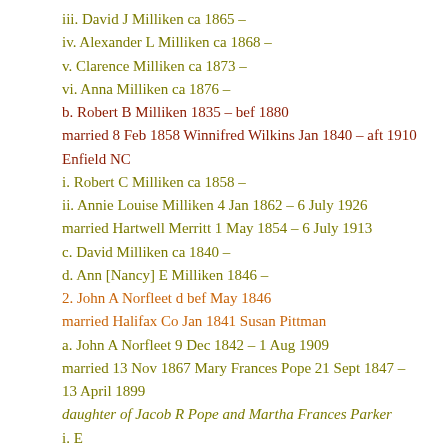iii. David J Milliken ca 1865 –
iv. Alexander L Milliken ca 1868 –
v. Clarence Milliken ca 1873 –
vi. Anna Milliken ca 1876 –
b. Robert B Milliken 1835 – bef 1880
married 8 Feb 1858 Winnifred Wilkins Jan 1840 – aft 1910 Enfield NC
i. Robert C Milliken ca 1858 –
ii. Annie Louise Milliken 4 Jan 1862 – 6 July 1926
married Hartwell Merritt 1 May 1854 – 6 July 1913
c. David Milliken ca 1840 –
d. Ann [Nancy] E Milliken 1846 –
2. John A Norfleet d bef May 1846
married Halifax Co Jan 1841 Susan Pittman
a. John A Norfleet 9 Dec 1842 – 1 Aug 1909
married 13 Nov 1867 Mary Frances Pope 21 Sept 1847 – 13 April 1899
daughter of Jacob R Pope and Martha Frances Parker
i. Emma Norfleet 1878 –